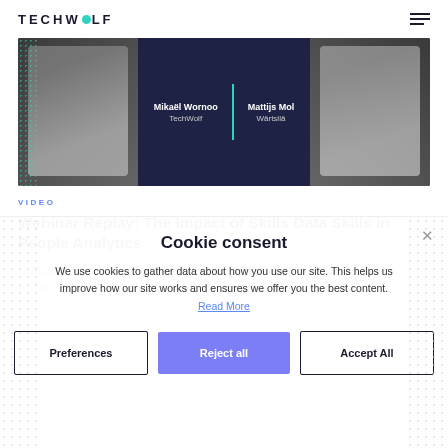TECHWOLF
[Figure (photo): Webinar thumbnail showing two speakers: Mikaël Wornoo from TechWolf and Mattijs Mol from Wärtsilä, with dark blue background and teal divider line]
VIDEO
Webinar Replay: The Impact of Skills Data Skills in People Analytics
Outstanding HR professional Mattijs Mol (Philips, ASML and now Wärtsilä) discusses successful use
Cookie consent
We use cookies to gather data about how you use our site. This helps us improve how our site works and ensures we offer you the best content. Read More
Preferences  Reject all  Accept All